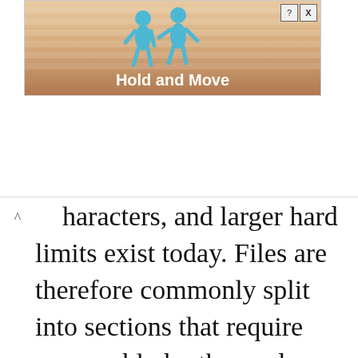[Figure (screenshot): Advertisement banner showing a mobile game called 'Hold and Move' with cartoon figures and a sandy/wooden background. Has close (X) and help (?) buttons in top right.]
characters, and larger hard limits exist today. Files are therefore commonly split into sections that require reassembly by the read
With the header extensions and the Base64 and Quoted-Printable MIME encodings, there was a new generation of binary transport. In practice, MIME has seen increased adoption text messages, but it is avoided for most binary attachments. Some operating systems with